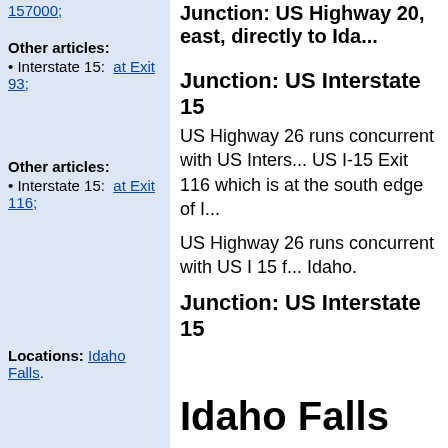157000;
Other articles:
• Interstate 15: at Exit 93;
Other articles:
• Interstate 15: at Exit 116;
Locations: Idaho Falls.
Other articles:
• Field Notes: 20180904010;
Locations: Snake River.
Junction: US Highway 20
Junction: US Interstate 15
US Highway 26 runs concurrent with US Inters... US I-15 Exit 116 which is at the south edge of I...
US Highway 26 runs concurrent with US I 15 f... Idaho.
Junction: US Interstate 15
Idaho Falls
Clark Hill Rest Area